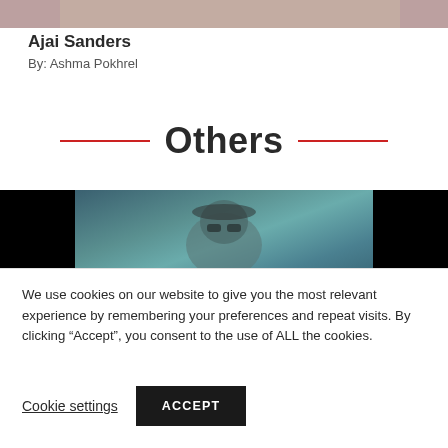[Figure (photo): Top portion of a photo, partially visible at the very top of the page]
Ajai Sanders
By: Ashma Pokhrel
Others
[Figure (photo): Photo with dark sides and a teal/blue-green centered image showing a person with sunglasses and a hat]
We use cookies on our website to give you the most relevant experience by remembering your preferences and repeat visits. By clicking “Accept”, you consent to the use of ALL the cookies.
Cookie settings
ACCEPT